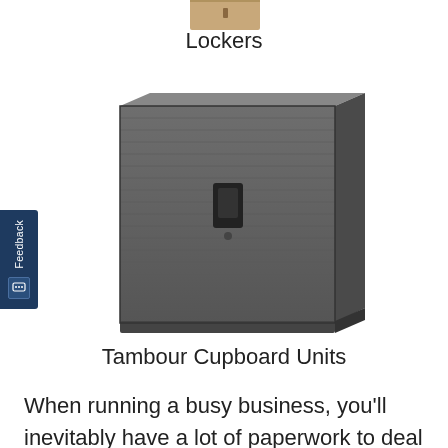Lockers
[Figure (photo): Partial image of lockers at the top of the page]
[Figure (photo): A dark grey tambour cupboard unit with a black handle/lock in the center, shown from a slight angle]
Tambour Cupboard Units
When running a busy business, you'll inevitably have a lot of paperwork to deal